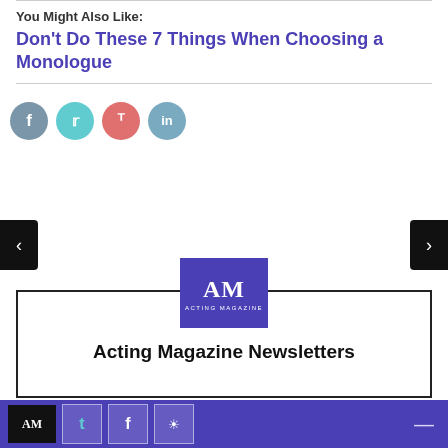You Might Also Like:
Don't Do These 7 Things When Choosing a Monologue
[Figure (infographic): Social share buttons: Facebook (grey-blue circle), Twitter (teal circle), Pinterest (pink circle), LinkedIn (blue-grey circle)]
[Figure (logo): Acting Magazine logo: purple square with 'AM' in white serif font and 'ACTING MAGAZINE' text below]
Acting Magazine Newsletters
[Figure (infographic): Footer bar with Acting Magazine logo (black background), Twitter icon, Facebook icon, and another icon on purple background]